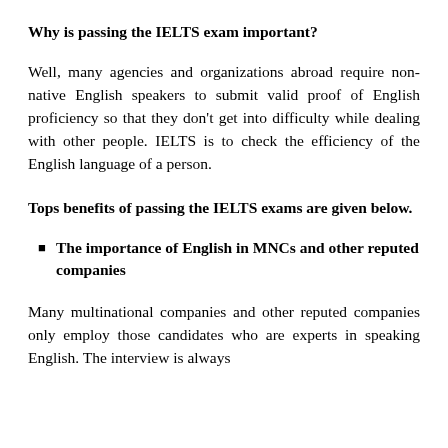Why is passing the IELTS exam important?
Well, many agencies and organizations abroad require non-native English speakers to submit valid proof of English proficiency so that they don't get into difficulty while dealing with other people. IELTS is to check the efficiency of the English language of a person.
Tops benefits of passing the IELTS exams are given below.
The importance of English in MNCs and other reputed companies
Many multinational companies and other reputed companies only employ those candidates who are experts in speaking English. The interview is always